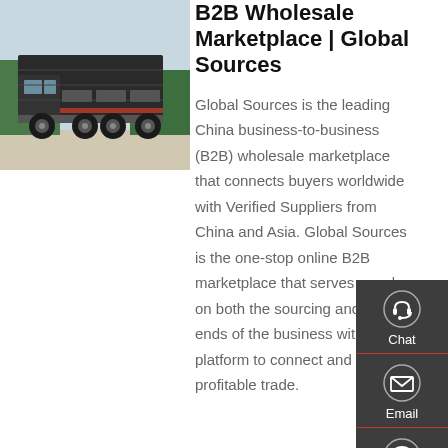[Figure (photo): A large dump truck (heavy vehicle) photographed outdoors with trees in background]
B2B Wholesale Marketplace | Global Sources
Global Sources is the leading China business-to-business (B2B) wholesale marketplace that connects buyers worldwide with Verified Suppliers from China and Asia. Global Sources is the one-stop online B2B marketplace that serves people on both the sourcing and buying ends of the business with a platform to connect and drive profitable trade.